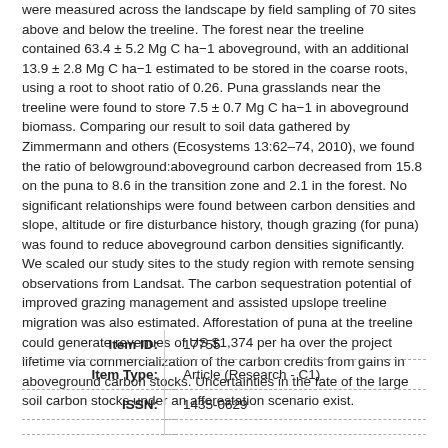were measured across the landscape by field sampling of 70 sites above and below the treeline. The forest near the treeline contained 63.4 ± 5.2 Mg C ha−1 aboveground, with an additional 13.9 ± 2.8 Mg C ha−1 estimated to be stored in the coarse roots, using a root to shoot ratio of 0.26. Puna grasslands near the treeline were found to store 7.5 ± 0.7 Mg C ha−1 in aboveground biomass. Comparing our result to soil data gathered by Zimmermann and others (Ecosystems 13:62–74, 2010), we found the ratio of belowground:aboveground carbon decreased from 15.8 on the puna to 8.6 in the transition zone and 2.1 in the forest. No significant relationships were found between carbon densities and slope, altitude or fire disturbance history, though grazing (for puna) was found to reduce aboveground carbon densities significantly. We scaled our study sites to the study region with remote sensing observations from Landsat. The carbon sequestration potential of improved grazing management and assisted upslope treeline migration was also estimated. Afforestation of puna at the treeline could generate revenues of US $1,374 per ha over the project lifetime via commercialization of the carbon credits from gains in aboveground carbon stocks. Uncertainties in the fate of the large soil carbon stocks under an afforestation scenario exist.
| Field | Value |
| --- | --- |
| Item ID: | 17755 |
| Item Type: | Article (Research - C1) |
| ISSN: | 1435-0629 |